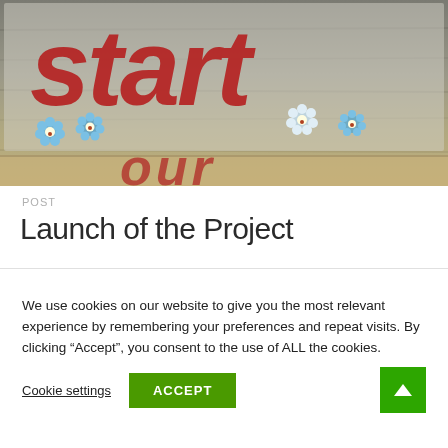[Figure (photo): Painted wooden sign with red cursive text reading 'start' decorated with blue and white flowers on a weathered grey wood background]
POST
Launch of the Project
We use cookies on our website to give you the most relevant experience by remembering your preferences and repeat visits. By clicking “Accept”, you consent to the use of ALL the cookies.
Cookie settings | ACCEPT